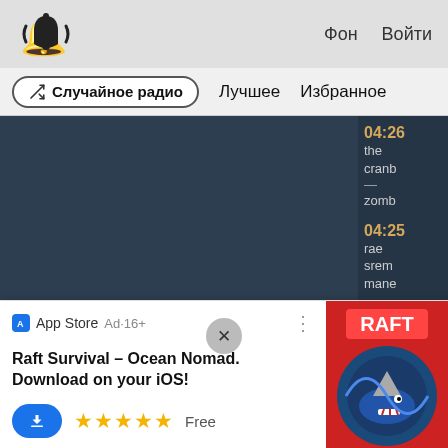Фон  Войти
Случайное радио   Лучшее   Избранное
[Figure (screenshot): Music app interface showing dark panel with song list on right sidebar. Songs listed: 04:26 the cranb— — zomb; 04:25 rae srem mane — black beatle; 04:22]
App Store  Ad·16+
Raft Survival – Ocean Nomad. Download on your iOS!
Free